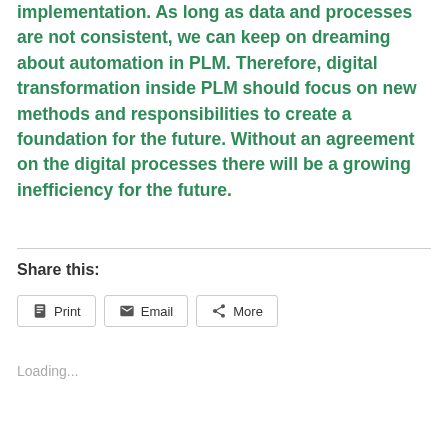implementation. As long as data and processes are not consistent, we can keep on dreaming about automation in PLM. Therefore, digital transformation inside PLM should focus on new methods and responsibilities to create a foundation for the future. Without an agreement on the digital processes there will be a growing inefficiency for the future.
Share this:
Print  Email  More
Loading...